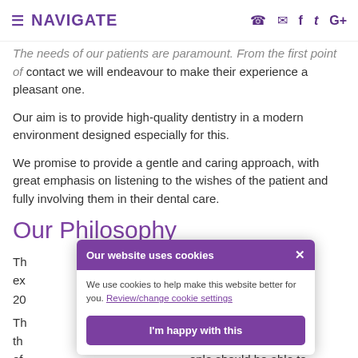NAVIGATE
The needs of our patients are paramount. From the first point of contact we will endeavour to make their experience a pleasant one.
Our aim is to provide high-quality dentistry in a modern environment designed especially for this.
We promise to provide a gentle and caring approach, with great emphasis on listening to the wishes of the patient and fully involving them in their dental care.
Our Philosophy
Th... s undergone an ex... a was flooded in July 20...
Th... d ambience th... high level of care of... ople should be able to sm... eeth for a lifetime. Pr... y and much more
[Figure (screenshot): Cookie consent overlay popup with purple header reading 'Our website uses cookies', close X button, body text 'We use cookies to help make this website better for you. Review/change cookie settings' with link, and a purple 'I'm happy with this' button.]